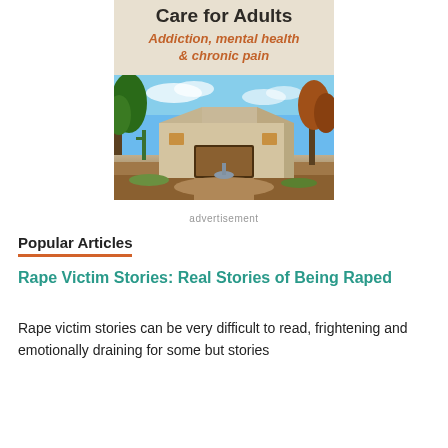[Figure (photo): Advertisement block showing a rehabilitation center for adults with text 'Addiction, mental health & chronic pain' and a photo of a Southwest-style building with desert landscaping]
advertisement
Popular Articles
Rape Victim Stories: Real Stories of Being Raped
Rape victim stories can be very difficult to read, frightening and emotionally draining for some but stories